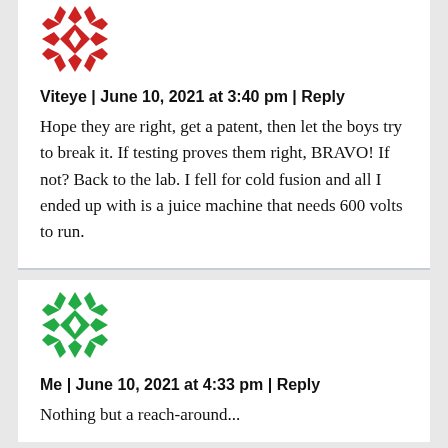[Figure (illustration): Red geometric quilt-pattern avatar icon for user Viteye]
Viteye | June 10, 2021 at 3:40 pm | Reply
Hope they are right, get a patent, then let the boys try to break it. If testing proves them right, BRAVO! If not? Back to the lab. I fell for cold fusion and all I ended up with is a juice machine that needs 600 volts to run.
[Figure (illustration): Green geometric quilt-pattern avatar icon for user Me]
Me | June 10, 2021 at 4:33 pm | Reply
Nothing but a reach-around...